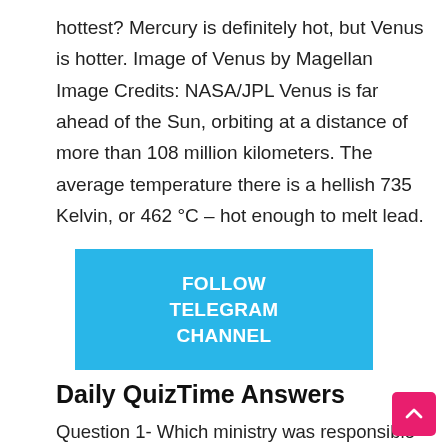hottest? Mercury is definitely hot, but Venus is hotter. Image of Venus by Magellan Image Credits: NASA/JPL Venus is far ahead of the Sun, orbiting at a distance of more than 108 million kilometers. The average temperature there is a hellish 735 Kelvin, or 462 °C – hot enough to melt lead.
[Figure (other): Blue rectangular button with white bold text reading FOLLOW TELEGRAM CHANNEL]
Daily QuizTime Answers
Question 1- Which ministry was responsible for the '40th Indian Scientific Expedition to Antarctica'?
Answer 1 : Ministry of Earth Sciences
Question 2: Which of these is an upcoming children's book